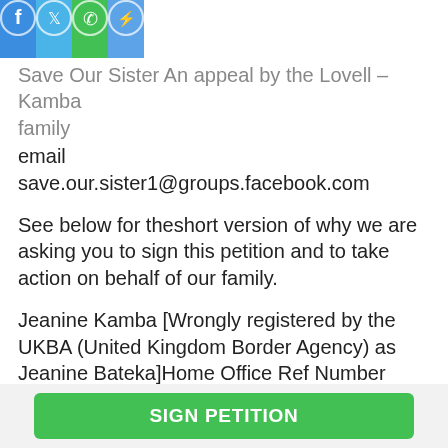[Figure (other): Social media sharing bar with Facebook, Twitter, WhatsApp, and Messenger icons]
Save Our Sister An appeal by the Lovell – Kamba family
email
save.our.sister1@groups.facebook.com
See below for theshort version of why we are asking you to sign this petition and to take action on behalf of our family.
Jeanine Kamba [Wrongly registered by the UKBA (United Kingdom Border Agency) as Jeanine Bateka]Home Office Ref Number K1226380/2
SAVE OUR SISTER: An appeal from the Lovell – Kamba Family
SIGN PETITION